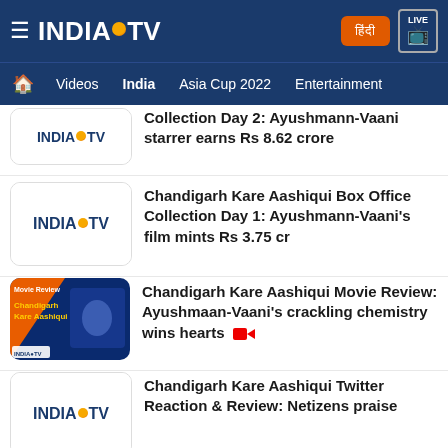INDIA TV - Videos | India | Asia Cup 2022 | Entertainment
Collection Day 2: Ayushmann-Vaani starrer earns Rs 8.62 crore
Chandigarh Kare Aashiqui Box Office Collection Day 1: Ayushmann-Vaani's film mints Rs 3.75 cr
Chandigarh Kare Aashiqui Movie Review: Ayushmaan-Vaani's crackling chemistry wins hearts
Chandigarh Kare Aashiqui Twitter Reaction & Review: Netizens praise